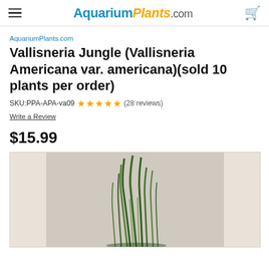AquariumPlants.com
AquariumPlants.com
Vallisneria Jungle (Vallisneria Americana var. americana)(sold 10 plants per order)
SKU:PPA-APA-va09  ★★★★★  (28 reviews)
Write a Review
$15.99
[Figure (photo): Photo of Vallisneria Jungle aquarium plants — tall green grass-like blades arranged in a bunch on a white background]